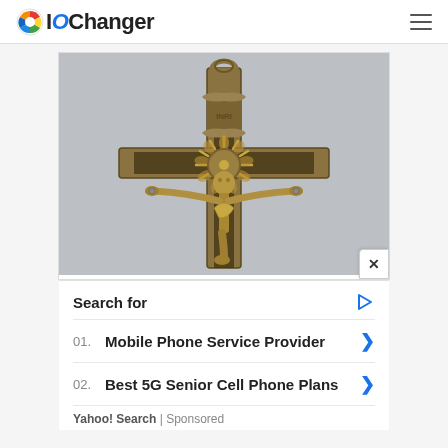IOChanger
[Figure (photo): Close-up photograph of a brass/bronze crucifix pendant or rosary cross showing Christ figure with outstretched arms, decorative sun/halo motif, and a hanging loop at top, against a textured grey background]
Search for
01.  Mobile Phone Service Provider  >
02.  Best 5G Senior Cell Phone Plans  >
Yahoo! Search | Sponsored